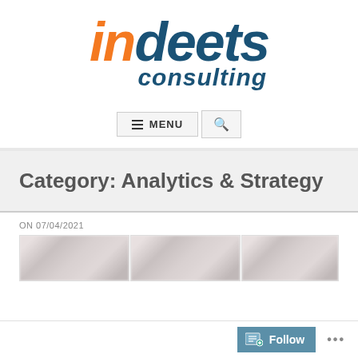[Figure (logo): Indeets Consulting logo with orange 'in' and blue 'deets consulting' text in italic bold style]
[Figure (screenshot): Navigation bar with hamburger menu button labeled MENU and a search icon button]
Category: Analytics & Strategy
ON 07/04/2021
[Figure (screenshot): Blurred preview thumbnails of article cards]
[Figure (screenshot): Follow button bar at bottom of page]